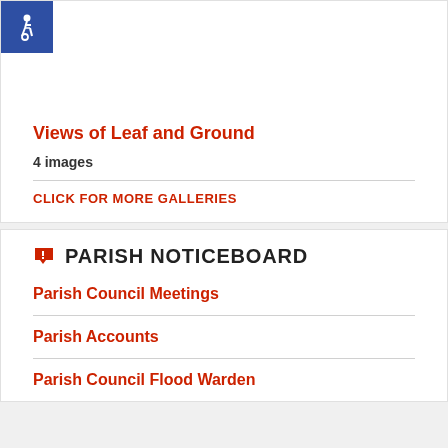[Figure (logo): Blue square accessibility icon (wheelchair symbol) in white]
Views of Leaf and Ground
4 images
CLICK FOR MORE GALLERIES
PARISH NOTICEBOARD
Parish Council Meetings
Parish Accounts
Parish Council Flood Warden